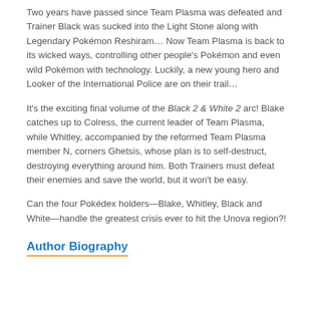Two years have passed since Team Plasma was defeated and Trainer Black was sucked into the Light Stone along with Legendary Pokémon Reshiram… Now Team Plasma is back to its wicked ways, controlling other people's Pokémon and even wild Pokémon with technology. Luckily, a new young hero and Looker of the International Police are on their trail…
It's the exciting final volume of the Black 2 & White 2 arc! Blake catches up to Colress, the current leader of Team Plasma, while Whitley, accompanied by the reformed Team Plasma member N, corners Ghetsis, whose plan is to self-destruct, destroying everything around him. Both Trainers must defeat their enemies and save the world, but it won't be easy.
Can the four Pokédex holders—Blake, Whitley, Black and White—handle the greatest crisis ever to hit the Unova region?!
Author Biography